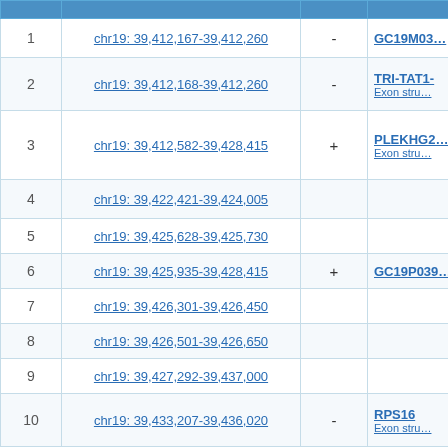|  | Location | Strand | Gene/Feature |
| --- | --- | --- | --- |
| 1 | chr19: 39,412,167-39,412,260 | - | GC19M03… |
| 2 | chr19: 39,412,168-39,412,260 | - | TRI-TAT1-… Exon stru… |
| 3 | chr19: 39,412,582-39,428,415 | + | PLEKHG2… Exon stru… |
| 4 | chr19: 39,422,421-39,424,005 |  |  |
| 5 | chr19: 39,425,628-39,425,730 |  |  |
| 6 | chr19: 39,425,935-39,428,415 | + | GC19P039… |
| 7 | chr19: 39,426,301-39,426,450 |  |  |
| 8 | chr19: 39,426,501-39,426,650 |  |  |
| 9 | chr19: 39,427,292-39,437,000 |  |  |
| 10 | chr19: 39,433,207-39,436,020 | - | RPS16 Exon stru… |